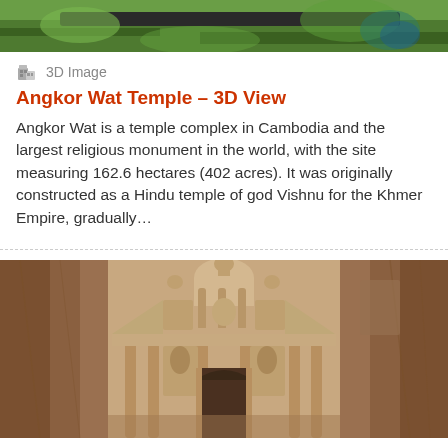[Figure (photo): Partial top image showing green foliage and some structure, cropped at top of page]
3D Image
Angkor Wat Temple – 3D View
Angkor Wat is a temple complex in Cambodia and the largest religious monument in the world, with the site measuring 162.6 hectares (402 acres). It was originally constructed as a Hindu temple of god Vishnu for the Khmer Empire, gradually…
[Figure (photo): Photograph of the Treasury (Al-Khazneh) at Petra, Jordan – a grand rose-red rock-cut facade with columns, carved into a sandstone cliff face]